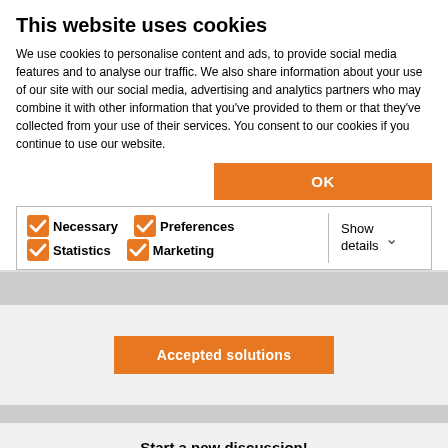This website uses cookies
We use cookies to personalise content and ads, to provide social media features and to analyse our traffic. We also share information about your use of our site with our social media, advertising and analytics partners who may combine it with other information that you've provided to them or that they've collected from your use of their services. You consent to our cookies if you continue to use our website.
OK
Necessary  Preferences  Statistics  Marketing  Show details
Accepted solutions
Start a new discussion!
Create new topic